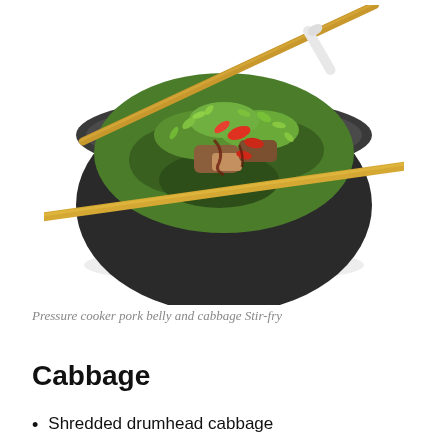[Figure (photo): A dark bowl filled with pork belly and cabbage stir-fry, topped with red chili slices, fresh cilantro, and sauce, with wooden chopsticks resting across the bowl on a white background.]
Pressure cooker pork belly and cabbage Stir-fry
Cabbage
Shredded drumhead cabbage